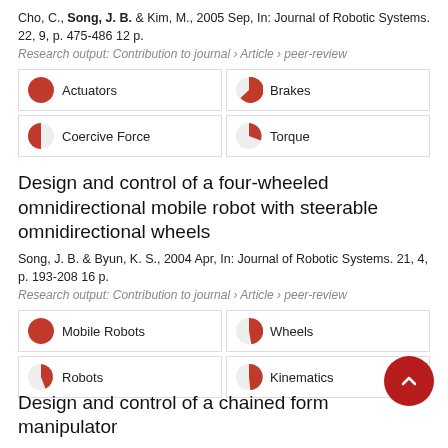Cho, C., Song, J. B. & Kim, M., 2005 Sep, In: Journal of Robotic Systems. 22, 9, p. 475-486 12 p.
Research output: Contribution to journal › Article › peer-review
[Figure (other): Keyword badges grid: Actuators (100% filled red pie), Brakes (~70% filled red pie), Coercive Force (~50% filled red pie), Torque (~25% filled red pie)]
Design and control of a four-wheeled omnidirectional mobile robot with steerable omnidirectional wheels
Song, J. B. & Byun, K. S., 2004 Apr, In: Journal of Robotic Systems. 21, 4, p. 193-208 16 p.
Research output: Contribution to journal › Article › peer-review
[Figure (other): Keyword badges grid: Mobile Robots (100% filled red pie), Wheels (~90% filled red pie), Robots (~20% filled red pie), Kinematics (~10% filled red pie)]
Design and control of a chained form manipulator